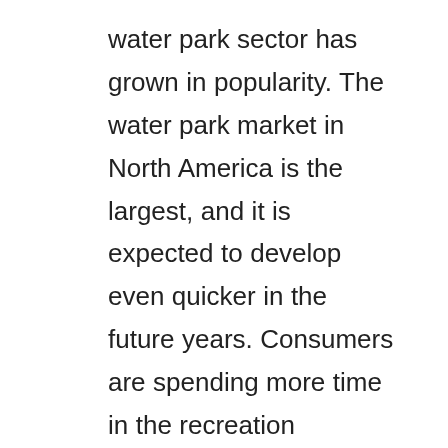water park sector has grown in popularity. The water park market in North America is the largest, and it is expected to develop even quicker in the future years. Consumers are spending more time in the recreation business and are willing to pay more money on tickets to water parks. Every year, the industry grows by 15% to 20%, whether it's from new facilities launching or expansions or improvements to existing water parks. To attract more visitors, the rides and attractions been improved. As someone interested in entering this industry, you must enjoy being in an adventurous setting and be willing to participate in all